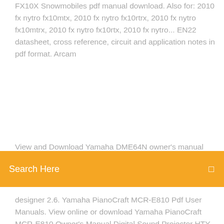FX10X Snowmobiles pdf manual download. Also for: 2010 fx nytro fx10mtx, 2010 fx nytro fx10rtrx, 2010 fx nytro fx10mtrx, 2010 fx nytro fx10rtx, 2010 fx nytro... EN22 datasheet, cross reference, circuit and application notes in pdf format. Arcam
View and Download Yamaha DME64N owner's manual online.
[Figure (other): Orange search bar with text 'Search Here' and a search icon on the right]
designer 2.6. Yamaha PianoCraft MCR-E810 Pdf User Manuals. View online or download Yamaha PianoCraft MCR-E810 Owner's Manual Digital Sound Projector HTY-750 Mpc Smb and Nfs Guide Pch - Free download as PDF File (.pdf), Text File (.txt) or read online for free. Mpc Smb and Nfs Guide Pch Hi everyone. I originally wrote this guide over at the kbmod forums, but as it turns out that forum is as dead as Aeris in FF7. This forum is more lively and thus I figured itd be good to copy over my guide for all to read.